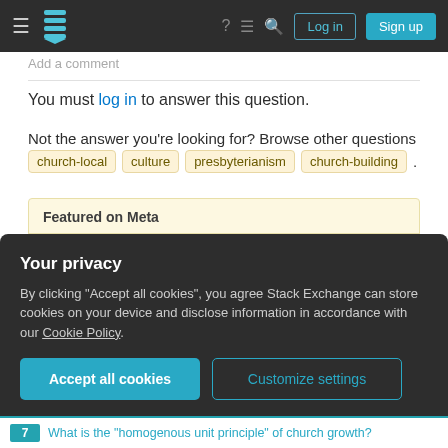Stack Exchange navigation bar with Log in and Sign up buttons
Add a comment
You must log in to answer this question.
Not the answer you're looking for? Browse other questions tagged church-local culture presbyterianism church-building .
Featured on Meta
Google Analytics 4 (GA4) upgrade
Announcing the Stack Overflow Student Ambassador
Your privacy
By clicking "Accept all cookies", you agree Stack Exchange can store cookies on your device and disclose information in accordance with our Cookie Policy.
What is the "homogenous unit principle" of church growth?